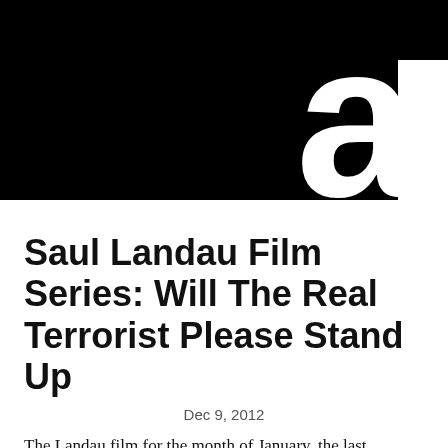[Figure (illustration): Black header image with large white letter or logo partially visible in lower right corner, resembling a stylized 'a' or 'o' character]
Saul Landau Film Series: Will The Real Terrorist Please Stand Up
Dec 9, 2012
The Landau film for the month of January, the last